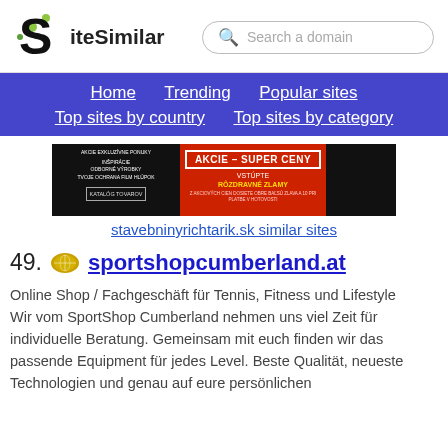SiteSimilar — Search a domain
Home  Trending  Popular sites  Top sites by country  Top sites by category
[Figure (screenshot): Screenshot of stavebninyrichtarik.sk website showing a red promotional banner with 'AKCIE – SUPER CENY' text]
stavebninyrichtarik.sk similar sites
49. sportshopcumberland.at
Online Shop / Fachgeschäft für Tennis, Fitness und Lifestyle
Wir vom SportShop Cumberland nehmen uns viel Zeit für individuelle Beratung. Gemeinsam mit euch finden wir das passende Equipment für jedes Level. Beste Qualität, neueste Technologien und genau auf eure persönlichen